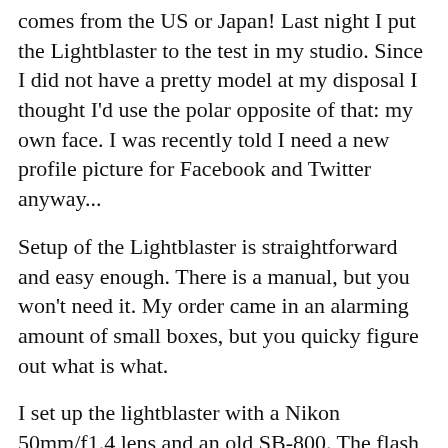comes from the US or Japan! Last night I put the Lightblaster to the test in my studio. Since I did not have a pretty model at my disposal I thought I'd use the polar opposite of that: my own face. I was recently told I need a new profile picture for Facebook and Twitter anyway...
Setup of the Lightblaster is straightforward and easy enough. There is a manual, but you won't need it. My order came in an alarming amount of small boxes, but you quicky figure out what is what.
I set up the lightblaster with a Nikon 50mm/f1.4 lens and an old SB-800. The flash is inserted into the lightblaster and tightened with a felcrow strap. But half of the flash just hangs out of the lightblaster. I opted to turn on the slave function of the flash rather than attach a pocketwizard. I did not want to have the extra weight at the end of the flash, for fear that the extra